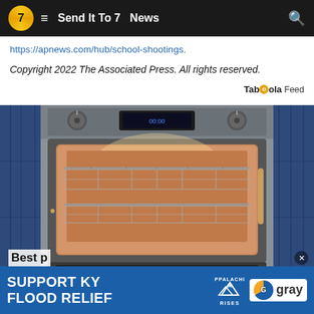Send It To 7   News
https://apnews.com/hub/school-shootings.
Copyright 2022 The Associated Press. All rights reserved.
Taboola Feed
[Figure (photo): Open built-in oven with stainless steel controls at top, door ajar at bottom, surrounded by navy blue cabinetry. Oven interior glows warm amber with metal wire racks visible.]
SUPPORT KY FLOOD RELIEF   APPALACHIA RISES   gray
Best p